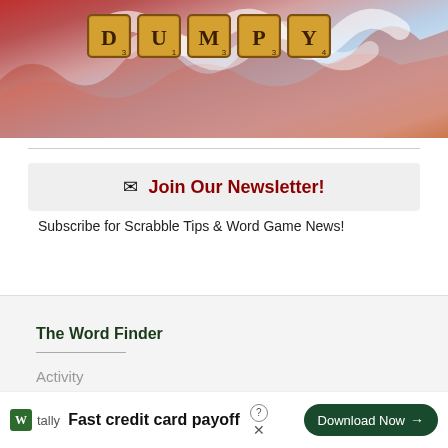[Figure (illustration): Scrabble tiles spelling DUMPY on an artistic painted background with red, blue, and cream colors with flame-like swirling designs]
✉  Join Our Newsletter!
Subscribe for Scrabble Tips & Word Game News!
The Word Finder
Activity
Fast credit card payoff
Download Now →